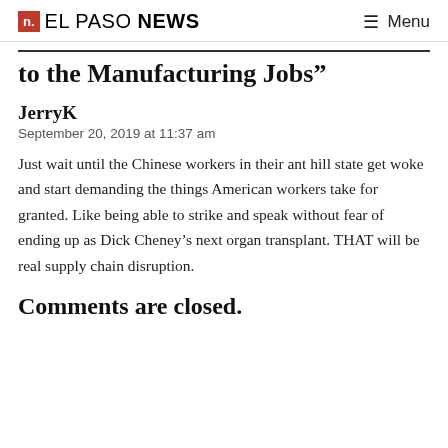n. EL PASO NEWS  ≡ Menu
to the Manufacturing Jobs”
JerryK
September 20, 2019 at 11:37 am
Just wait until the Chinese workers in their ant hill state get woke and start demanding the things American workers take for granted. Like being able to strike and speak without fear of ending up as Dick Cheney’s next organ transplant. THAT will be real supply chain disruption.
Comments are closed.